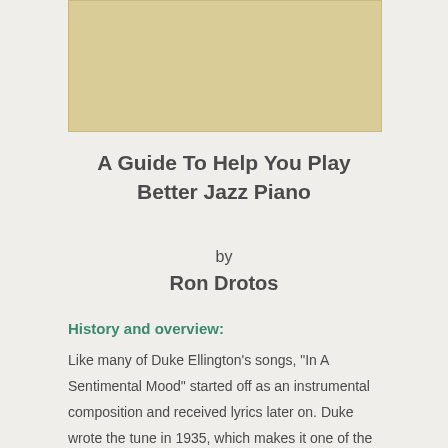[Figure (other): Beige/tan colored rectangular image placeholder at top of page]
A Guide To Help You Play Better Jazz Piano
by
Ron Drotos
History and overview:
Like many of Duke Ellington’s songs, “In A Sentimental Mood” started off as an instrumental composition and received lyrics later on. Duke wrote the tune in 1935, which makes it one of the earlier of his famous pieces.